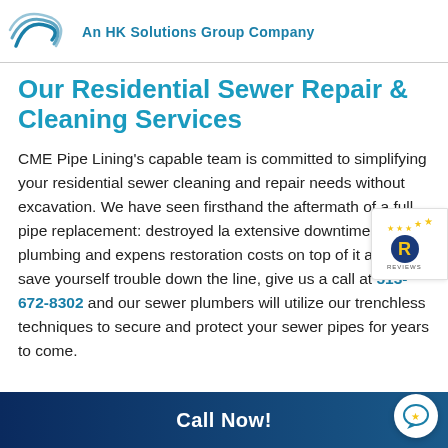An HK Solutions Group Company
Our Residential Sewer Repair & Cleaning Services
CME Pipe Lining's capable team is committed to simplifying your residential sewer cleaning and repair needs without excavation. We have seen firsthand the aftermath of a full pipe replacement: destroyed la extensive downtime with no plumbing and expens restoration costs on top of it all. To save yourself trouble down the line, give us a call at 513-672-8302 and our sewer plumbers will utilize our trenchless techniques to secure and protect your sewer pipes for years to come.
[Figure (logo): Reviews badge with star icon and R logo]
Call Now!
[Figure (logo): Chat/contact badge with star icon]